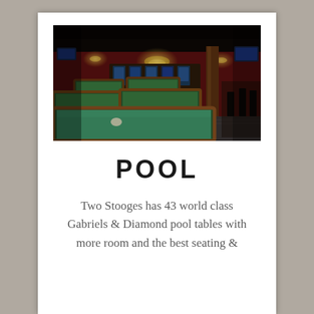[Figure (photo): Interior of a billiard hall with multiple green felt pool tables in the foreground, arcade machines and warm lighting in the background, dark wood decor and red walls.]
POOL
Two Stooges has 43 world class Gabriels & Diamond pool tables with more room and the best seating &